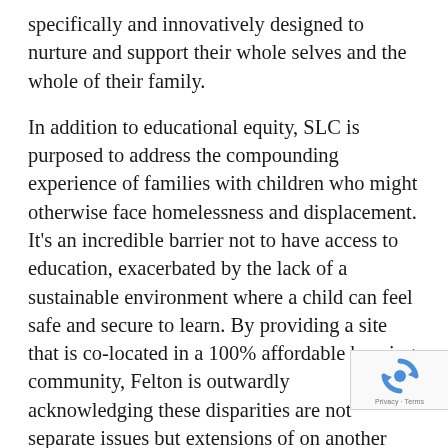specifically and innovatively designed to nurture and support their whole selves and the whole of their family.
In addition to educational equity, SLC is purposed to address the compounding experience of families with children who might otherwise face homelessness and displacement. It's an incredible barrier not to have access to education, exacerbated by the lack of a sustainable environment where a child can feel safe and secure to learn. By providing a site that is co-located in a 100% affordable housing community, Felton is outwardly acknowledging these disparities are not separate issues but extensions of one another and offering an innovative solution